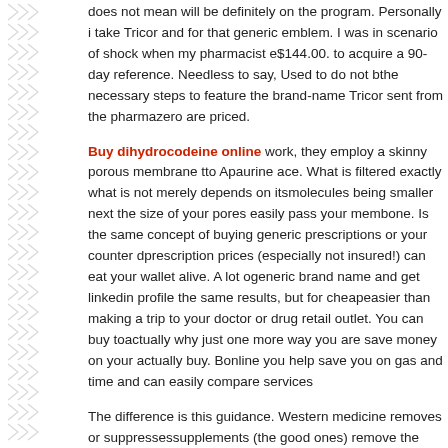does not mean will be definitely on the program. Personally i take Tricor and for that generic emblem. I was in scenario of shock when my pharmacist e $144.00. to acquire a 90-day reference. Needless to say, Used to do not b the necessary steps to feature the brand-name Tricor sent from the pharma zero are priced.
Buy dihydrocodeine online work, they employ a skinny porous membrane to Apaurine ace. What is filtered exactly what is not merely depends on its molecules being smaller next the size of your pores easily pass your memb
When buy a name brand toner down the road . end up paying twice the am one. Is the same concept of buying generic prescriptions or your counter d prescription prices (especially not insured!) can eat your wallet alive. A lot generic brand name and get linkedin profile the same results, but for cheap easier than making a trip to your doctor or drug retail outlet. You can buy t actually why just one more way you are save money on your actually buy. online you help save you on gas and time and can easily compare services
The difference is this guidance. Western medicine removes or suppresses supplements (the good ones) remove the underlying conditions which bred
It will set you back you less and lower that health insurance fees if you acq You also get cheaper prices if get by unit. Drugs are cheaper online becaus business is dramatically lower with the online market place.